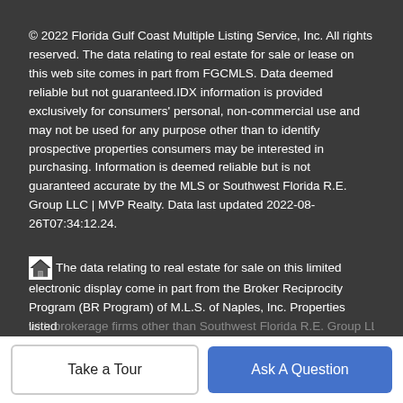© 2022 Florida Gulf Coast Multiple Listing Service, Inc. All rights reserved. The data relating to real estate for sale or lease on this web site comes in part from FGCMLS. Data deemed reliable but not guaranteed.IDX information is provided exclusively for consumers' personal, non-commercial use and may not be used for any purpose other than to identify prospective properties consumers may be interested in purchasing. Information is deemed reliable but is not guaranteed accurate by the MLS or Southwest Florida R.E. Group LLC | MVP Realty. Data last updated 2022-08-26T07:34:12.24.
The data relating to real estate for sale on this limited electronic display come in part from the Broker Reciprocity Program (BR Program) of M.L.S. of Naples, Inc. Properties listed with brokerage firms other than Southwest Florida R.E. Group LLC |...
Take a Tour
Ask A Question